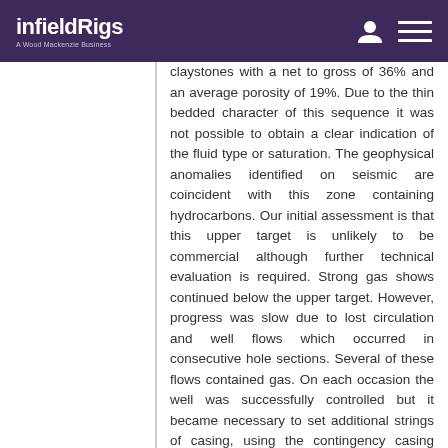infieldRigs — A Wood Mackenzie Business
claystones with a net to gross of 36% and an average porosity of 19%. Due to the thin bedded character of this sequence it was not possible to obtain a clear indication of the fluid type or saturation. The geophysical anomalies identified on seismic are coincident with this zone containing hydrocarbons. Our initial assessment is that this upper target is unlikely to be commercial although further technical evaluation is required. Strong gas shows continued below the upper target. However, progress was slow due to lost circulation and well flows which occurred in consecutive hole sections. Several of these flows contained gas. On each occasion the well was successfully controlled but it became necessary to set additional strings of casing, using the contingency casing considered in the well design. In the final 6" hole section, the fluid pressures continued to rise giving further well flows and it became impossible to continue drilling whilst maintaining well integrity. A decision was therefore